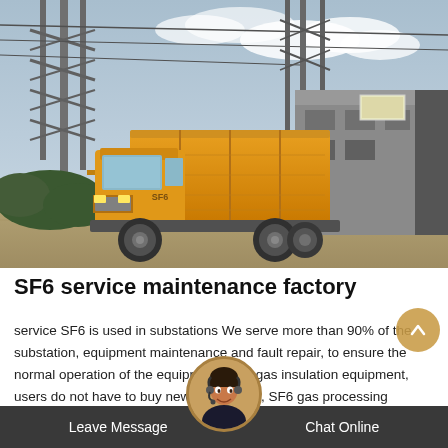[Figure (photo): An orange service/maintenance truck parked in front of a large electrical substation with metal tower structures and industrial buildings in the background.]
SF6 service maintenance factory
service SF6 is used in substations We serve more than 90% of the substation, equipment maintenance and fault repair, to ensure the normal operation of the equipment, SF6 gas insulation equipment, users do not have to buy new natural gas, SF6 gas processing